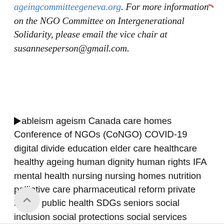ageingcommitteegeneva.org. For more information on the NGO Committee on Intergenerational Solidarity, please email the vice chair at susanneseperson@gmail.com.
ableism ageism Canada care homes Conference of NGOs (CoNGO) COVID-19 digital divide education elder care healthcare healthy ageing human dignity human rights IFA mental health nursing nursing homes nutrition palliative care pharmaceutical reform private sector public health SDGs seniors social inclusion social protections social services technology